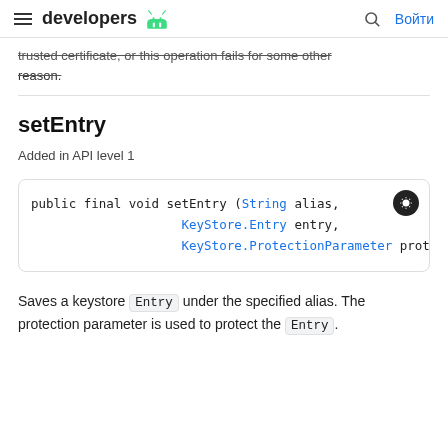developers [android logo] | [search] Войти
trusted certificate, or this operation fails for some other reason.
setEntry
Added in API level 1
public final void setEntry (String alias,
                    KeyStore.Entry entry,
                    KeyStore.ProtectionParameter protPar
Saves a keystore Entry under the specified alias. The protection parameter is used to protect the Entry.